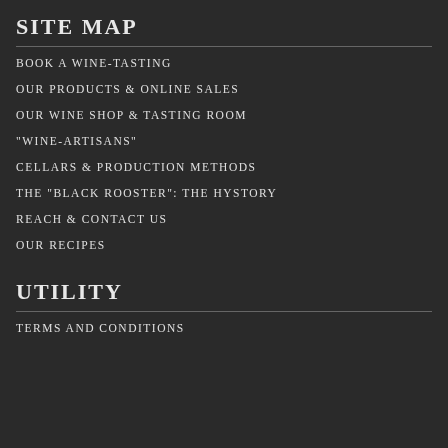SITE MAP
BOOK A WINE-TASTING
OUR PRODUCTS & ONLINE SALES
OUR WINE SHOP & TASTING ROOM
"WINE-ARTISANS"
CELLARS & PRODUCTION METHODS
THE "BLACK ROOSTER": THE HYSTORY
REACH & CONTACT US
OUR RECIPES
UTILITY
TERMS AND CONDITIONS